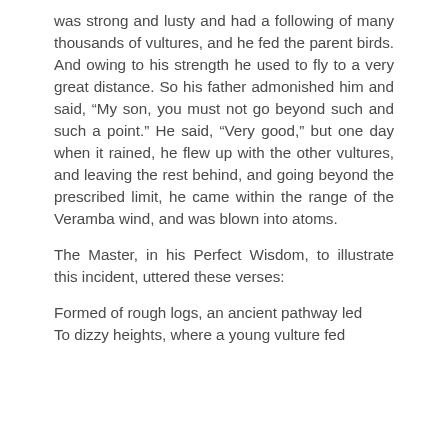was strong and lusty and had a following of many thousands of vultures, and he fed the parent birds. And owing to his strength he used to fly to a very great distance. So his father admonished him and said, “My son, you must not go beyond such and such a point.” He said, “Very good,” but one day when it rained, he flew up with the other vultures, and leaving the rest behind, and going beyond the prescribed limit, he came within the range of the Veramba wind, and was blown into atoms.
The Master, in his Perfect Wisdom, to illustrate this incident, uttered these verses:
Formed of rough logs, an ancient pathway led
To dizzy heights, where a young vulture fed